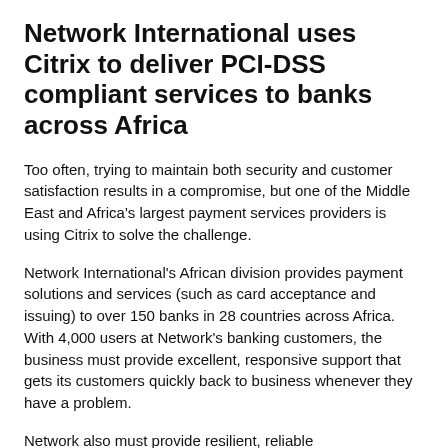Network International uses Citrix to deliver PCI-DSS compliant services to banks across Africa
Too often, trying to maintain both security and customer satisfaction results in a compromise, but one of the Middle East and Africa's largest payment services providers is using Citrix to solve the challenge.
Network International's African division provides payment solutions and services (such as card acceptance and issuing) to over 150 banks in 28 countries across Africa. With 4,000 users at Network's banking customers, the business must provide excellent, responsive support that gets its customers quickly back to business whenever they have a problem.
Network also must provide resilient, reliable...